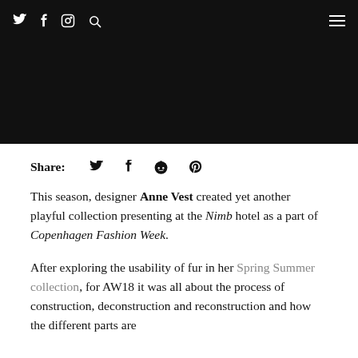Social media icons navigation bar
[Figure (other): Black hero image area]
Share: [twitter] [facebook] [reddit] [pinterest]
This season, designer Anne Vest created yet another playful collection presenting at the Nimb hotel as a part of Copenhagen Fashion Week.
After exploring the usability of fur in her Spring Summer collection, for AW18 it was all about the process of construction, deconstruction and reconstruction and how the different parts are